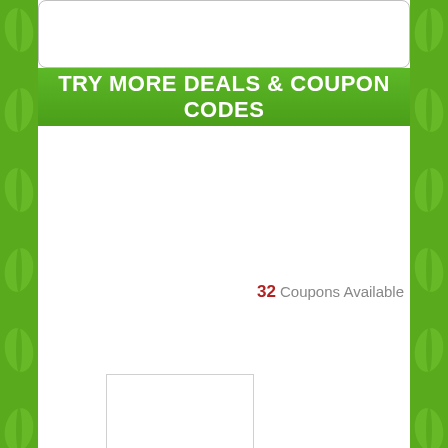TRY MORE DEALS & COUPON CODES
32 Coupons Available
[Figure (photo): Product image placeholder for Les Nouvelles]
Les Nouvelles
Get Code